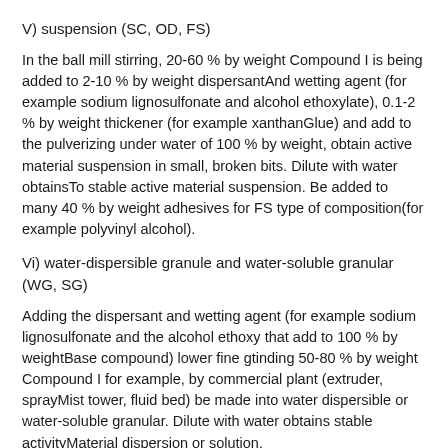V) suspension (SC, OD, FS)
In the ball mill stirring, 20-60 % by weight Compound I is being added to 2-10 % by weight dispersantAnd wetting agent (for example sodium lignosulfonate and alcohol ethoxylate), 0.1-2 % by weight thickener (for example xanthanGlue) and add to the pulverizing under water of 100 % by weight, obtain active material suspension in small, broken bits. Dilute with water obtainsTo stable active material suspension. Be added to many 40 % by weight adhesives for FS type of composition(for example polyvinyl alcohol).
Vi) water-dispersible granule and water-soluble granular (WG, SG)
Adding the dispersant and wetting agent (for example sodium lignosulfonate and the alcohol ethoxy that add to 100 % by weightBase compound) lower fine gtinding 50-80 % by weight Compound I for example, by commercial plant (extruder, sprayMist tower, fluid bed) be made into water dispersible or water-soluble granular. Dilute with water obtains stable activityMaterial dispersion or solution.